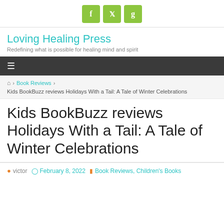[Figure (logo): Three olive-green square social media icons: Facebook (f), Twitter (bird), Goodreads (g)]
Loving Healing Press
Redefining what is possible for healing mind and spirit
[Figure (other): Dark grey navigation bar with hamburger menu icon (three horizontal lines)]
🏠 > Book Reviews > Kids BookBuzz reviews Holidays With a Tail: A Tale of Winter Celebrations
Kids BookBuzz reviews Holidays With a Tail: A Tale of Winter Celebrations
victor   February 8, 2022   Book Reviews, Children's Books